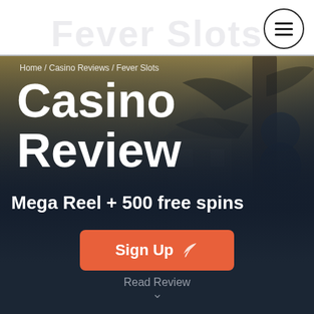Fever Slots
[Figure (screenshot): Casino review hero section with illustrated background showing a character among trees, dark overlay, breadcrumb navigation, large Casino Review heading, Mega Reel + 500 free spins subtitle, orange Sign Up button with feather icon, and Read Review link with chevron.]
Home / Casino Reviews / Fever Slots
Casino Review
Mega Reel + 500 free spins
Sign Up
Read Review